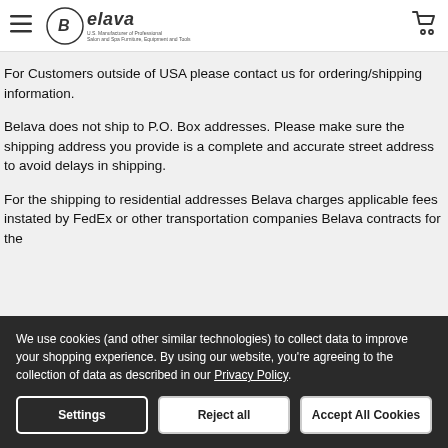Belava - U.S. Manufacturer of Professional Salon and Spa Furniture, Equipment and Tools
For Customers outside of USA please contact us for ordering/shipping information.
Belava does not ship to P.O. Box addresses. Please make sure the shipping address you provide is a complete and accurate street address to avoid delays in shipping.
For the shipping to residential addresses Belava charges applicable fees instated by FedEx or other transportation companies Belava contracts for the
We use cookies (and other similar technologies) to collect data to improve your shopping experience. By using our website, you're agreeing to the collection of data as described in our Privacy Policy.
Settings | Reject all | Accept All Cookies